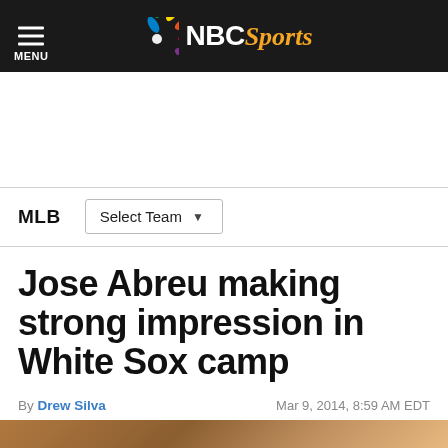NBC Sports
MLB   Select Team
Jose Abreu making strong impression in White Sox camp
By Drew Silva   Mar 9, 2014, 8:59 AM EDT
[Figure (photo): Bottom portion of a photo showing Jose Abreu, cropped at the bottom of the page]